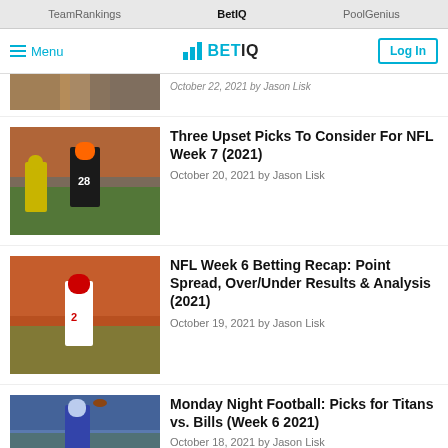TeamRankings | BetIQ | PoolGenius
≡ Menu | BETIQ | Log In
[Figure (photo): Partial view of an NFL football game action photo, players in orange and white uniforms]
October 22, 2021 by Jason Lisk
[Figure (photo): NFL football game: Cincinnati Bengals player #28 in black/orange uniform running with the ball, Green Bay Packers defender in yellow/green uniform]
Three Upset Picks To Consider For NFL Week 7 (2021)
October 20, 2021 by Jason Lisk
[Figure (photo): NFL football game: Arizona Cardinals player #2 in white/red uniform on field with orange crowd background]
NFL Week 6 Betting Recap: Point Spread, Over/Under Results & Analysis (2021)
October 19, 2021 by Jason Lisk
[Figure (photo): NFL football game: quarterback in blue uniform throwing a pass]
Monday Night Football: Picks for Titans vs. Bills (Week 6 2021)
October 18, 2021 by Jason Lisk